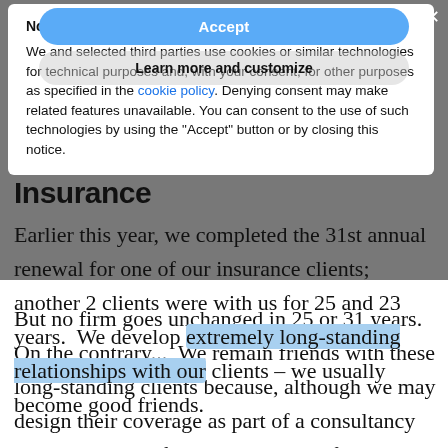Insurance
Notice
We and selected third parties use cookies or similar technologies for technical purposes and, with your consent, for other purposes as specified in the cookie policy. Denying consent may make related features unavailable. You can consent to the use of such technologies by using the "Accept" button or by closing this notice.
Accept
Learn more and customize
Earlier this year, we completed the 31st annual renewal for one of our insurance clients; another 2 clients were with us for 25 and 23 years. We develop extremely long-standing relationships with our clients – we usually become good friends.
But no firm goes unchanged in 25 or 31 years. On the contrary... We remain friends with these long-standing clients because, although we may design their coverage as part of a consultancy project, we are often retained long after the initial project is done, to help them and maybe their broker manage